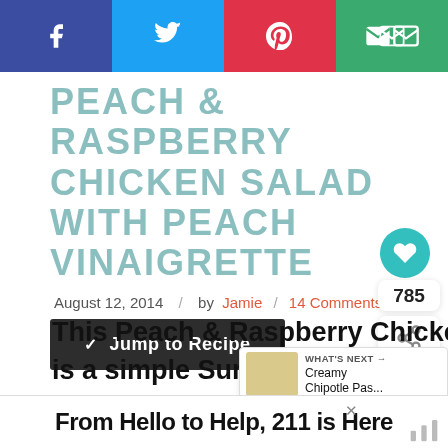[Figure (other): Social sharing bar with Facebook (blue-purple), Twitter (blue), Pinterest (red), and Email (green) buttons]
PEACH & RASPBERRY CHICKEN SALAD WITH PEACH VINAIGRETTE
August 12, 2014 / by Jamie / 14 Comments
Jump to Recipe
This Peach & Raspberry Chicken Salad is a simple Summer salad with flavor! The homemade Peach V...
[Figure (other): What's Next panel showing Creamy Chipotle Pas... with thumbnail]
[Figure (other): Advertisement banner: From Hello to Help, 211 is Here]